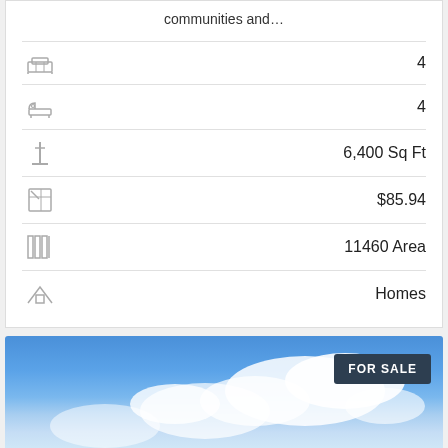communities and…
| [bed icon] | 4 |
| [bath icon] | 4 |
| [size icon] | 6,400 Sq Ft |
| [price icon] | $85.94 |
| [area icon] | 11460 Area |
| [home icon] | Homes |
[Figure (photo): Sky and clouds photo with FOR SALE badge and Translate button at bottom left]
FOR SALE
Translate »